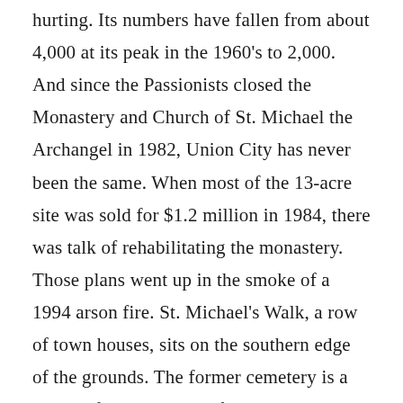hurting. Its numbers have fallen from about 4,000 at its peak in the 1960's to 2,000. And since the Passionists closed the Monastery and Church of St. Michael the Archangel in 1982, Union City has never been the same. When most of the 13-acre site was sold for $1.2 million in 1984, there was talk of rehabilitating the monastery. Those plans went up in the smoke of a 1994 arson fire. St. Michael's Walk, a row of town houses, sits on the southern edge of the grounds. The former cemetery is a Board of Education ballfield on which the city plans to build a school. A sculpture garden has become a parking lot. The church is still used as a house of worship and...